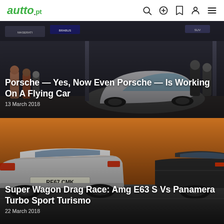autto.pt
[Figure (photo): Auto show exhibition hall with a small futuristic concept car (white pod-like vehicle) on display; people in background with various brand banners]
Porsche — Yes, Now Even Porsche — Is Working On A Flying Car
13 March 2018
[Figure (photo): Two luxury cars side by side on a road, one showing rear plate RE67 CMK, warm golden-hour lighting]
Super Wagon Drag Race: Amg E63 S Vs Panamera Turbo Sport Turismo
22 March 2018